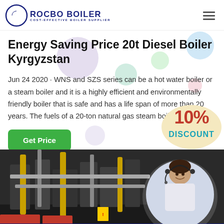ROCBO BOILER - COST-EFFECTIVE BOILER SUPPLIER
Energy Saving Price 20t Diesel Boiler Kyrgyzstan
Jun 24 2020 · WNS and SZS series can be a hot water boiler or a steam boiler and it is a highly efficient and environmentally friendly boiler that is safe and has a life span of more than 20 years. The fuels of a 20-ton natural gas steam boiler are mai...
[Figure (infographic): 10% DISCOUNT promotional badge in red and teal text on a cream/tan background]
[Figure (photo): Industrial boiler room interior with yellow and gray pipes and equipment, overlaid with a customer service representative wearing a headset]
Get Price